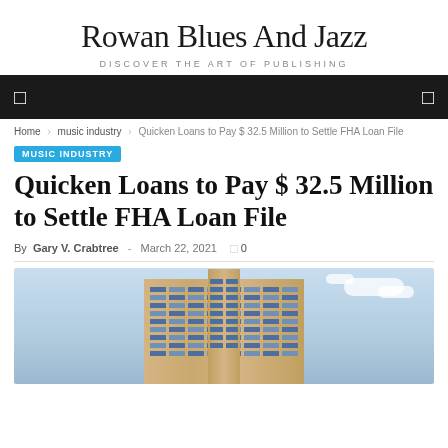Rowan Blues And Jazz
DISCOVER THE ART OF PUBLISHING
Home  music industry  Quicken Loans to Pay $ 32.5 Million to Settle FHA Loan File
MUSIC INDUSTRY
Quicken Loans to Pay $ 32.5 Million to Settle FHA Loan File
By Gary V. Crabtree - March 22, 2021  0
[Figure (photo): Exterior photo of a modern multi-storey office building with beige/tan facade and blue-tinted windows against a partly cloudy sky]